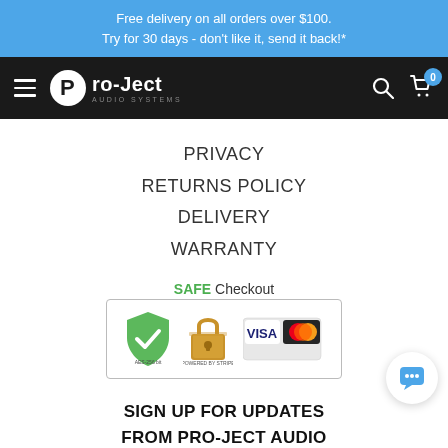Free delivery on all orders over $100. Try for 30 days - don't like it, send it back!*
[Figure (logo): Pro-Ject Audio Systems logo with hamburger menu, search icon, and cart icon showing 0 items]
PRIVACY
RETURNS POLICY
DELIVERY
WARRANTY
[Figure (infographic): SAFE Checkout badge with green shield checkmark, Stripe padlock, Visa and Mastercard logos]
SIGN UP FOR UPDATES FROM PRO-JECT AUDIO
BY SIGNING UP YOU AGREE TO THE PRIVACY POLICY
SUBSCRIBE